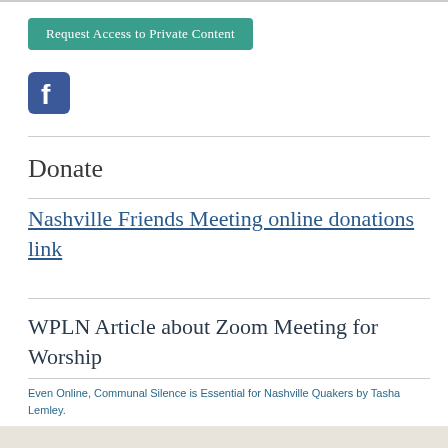Request Access to Private Content
[Figure (logo): Facebook logo icon - blue square with white 'f']
Donate
Nashville Friends Meeting online donations link
WPLN Article about Zoom Meeting for Worship
Even Online, Communal Silence is Essential for Nashville Quakers by Tasha Lemley.